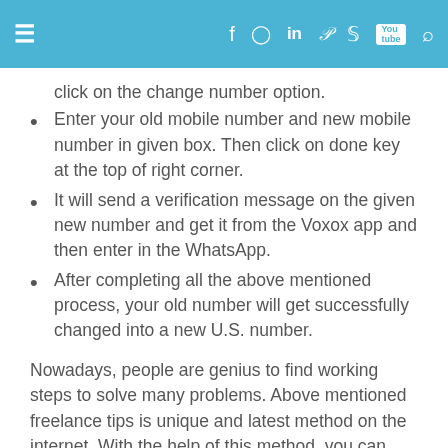≡  f  ⊙  in  P  𝕐  [You tube]  🔍
click on the change number option.
Enter your old mobile number and new mobile number in given box. Then click on done key at the top of right corner.
It will send a verification message on the given new number and get it from the Voxox app and then enter in the WhatsApp.
After completing all the above mentioned process, your old number will get successfully changed into a new U.S. number.
Nowadays, people are genius to find working steps to solve many problems. Above mentioned freelance tips is unique and latest method on the internet. With the help of this method, you can easily use WhatsApp number with USA number and also help to protect the identity. Let us completely wish to create account with USA number 100 percent working process. The